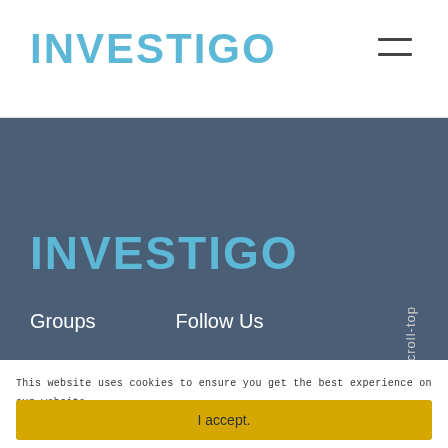INVESTIGO
[Figure (other): Dark blue-grey footer section background]
INVESTIGO
Groups   Follow Us
Scroll-top
This website uses cookies to ensure you get the best experience on our website.
More
I accept.